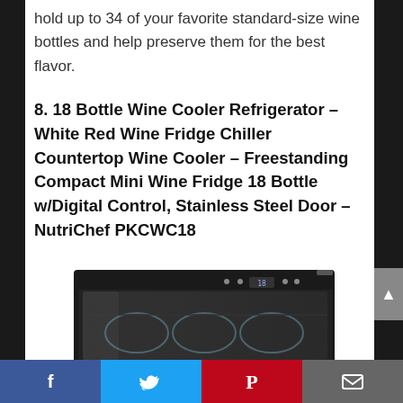hold up to 34 of your favorite standard-size wine bottles and help preserve them for the best flavor.
8. 18 Bottle Wine Cooler Refrigerator – White Red Wine Fridge Chiller Countertop Wine Cooler – Freestanding Compact Mini Wine Fridge 18 Bottle w/Digital Control, Stainless Steel Door – NutriChef PKCWC18
[Figure (photo): Photo of a black and stainless steel NutriChef PKCWC18 wine cooler refrigerator with a glass door showing wine bottles inside, and a digital control panel at the top.]
Facebook | Twitter | Pinterest | Email